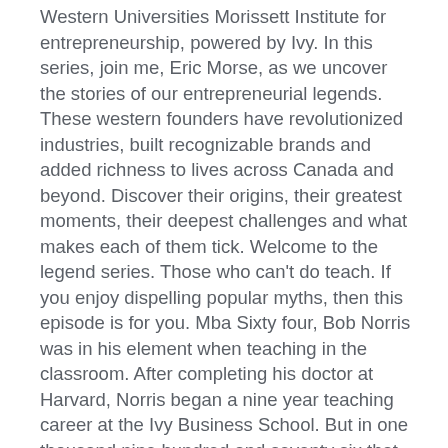Western Universities Morissett Institute for entrepreneurship, powered by Ivy. In this series, join me, Eric Morse, as we uncover the stories of our entrepreneurial legends. These western founders have revolutionized industries, built recognizable brands and added richness to lives across Canada and beyond. Discover their origins, their greatest moments, their deepest challenges and what makes each of them tick. Welcome to the legend series. Those who can't do teach. If you enjoy dispelling popular myths, then this episode is for you. Mba Sixty four, Bob Norris was in his element when teaching in the classroom. After completing his doctor at Harvard, Norris began a nine year teaching career at the Ivy Business School. But in one thousand nine hundred and seventy six that world was appended when a private equity firm came knocking for his expertise to turn around some struggling companies, from airlines and soft drinks to building water slides. Norris eventually found his diamond in the rough in a little New Orleans based mail order business called the Bombay Company. The rest, as they say, is history.